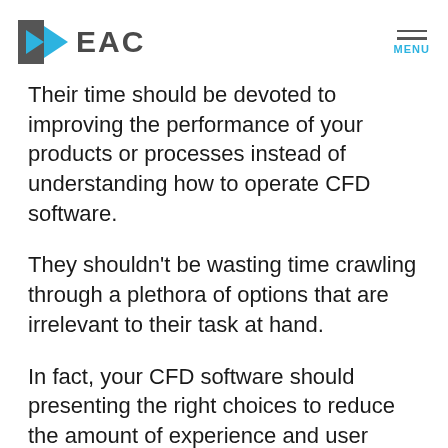EAC  MENU
Their time should be devoted to improving the performance of your products or processes instead of understanding how to operate CFD software.
They shouldn't be wasting time crawling through a plethora of options that are irrelevant to their task at hand.
In fact, your CFD software should presenting the right choices to reduce the amount of experience and user input required to ensure a successful simulation.